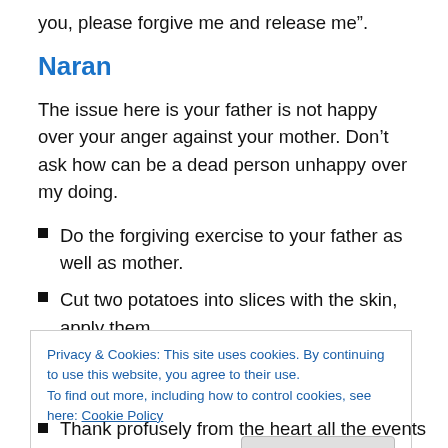you, please forgive me and release me”.
Naran
The issue here is your father is not happy over your anger against your mother. Don’t ask how can be a dead person unhappy over my doing.
Do the forgiving exercise to your father as well as mother.
Cut two potatoes into slices with the skin, apply them
Privacy & Cookies: This site uses cookies. By continuing to use this website, you agree to their use.
To find out more, including how to control cookies, see here: Cookie Policy
Thank profusely from the heart all the events in your